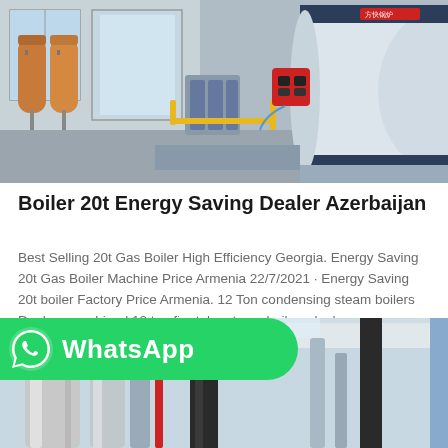[Figure (photo): Industrial boiler room with large white cylindrical boiler with red burner unit, gas piping in yellow, water treatment tanks on the left, in a gray concrete building]
Boiler 20t Energy Saving Dealer Azerbaijan
Best Selling 20t Gas Boiler High Efficiency Georgia. Energy Saving 20t Gas Boiler Machine Price Armenia 22/7/2021 · Energy Saving 20t boiler Factory Price Armenia. 12 Ton condensing steam boilers Dealer - combined 12 ton fire tube steam boilers dealer....
Get Price
[Figure (logo): WhatsApp logo button - green rounded rectangle with WhatsApp phone icon and text 'WhatsApp']
[Figure (photo): Close-up of industrial piping and equipment in a factory or boiler room, stainless steel pipes with red and other colored elements, ceiling visible above]